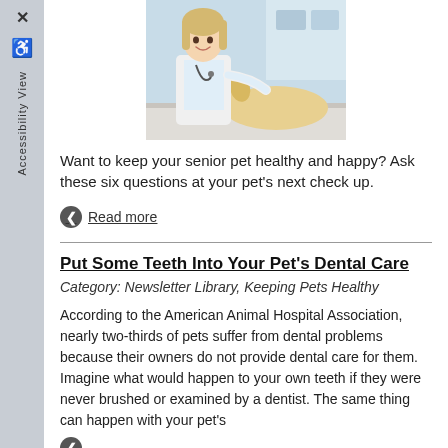[Figure (photo): Veterinarian in white coat smiling with a golden Labrador dog in a clinic setting]
Want to keep your senior pet healthy and happy? Ask these six questions at your pet's next check up.
Read more
Put Some Teeth Into Your Pet's Dental Care
Category: Newsletter Library, Keeping Pets Healthy
According to the American Animal Hospital Association, nearly two-thirds of pets suffer from dental problems because their owners do not provide dental care for them. Imagine what would happen to your own teeth if they were never brushed or examined by a dentist. The same thing can happen with your pet's